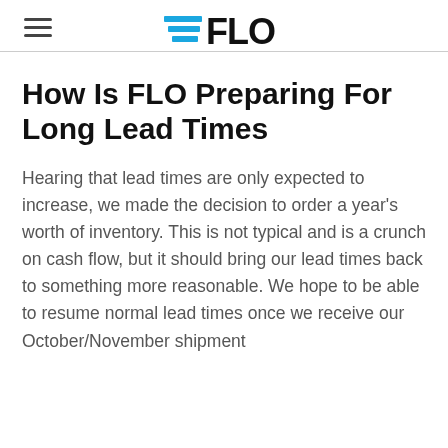FLO
How Is FLO Preparing For Long Lead Times
Hearing that lead times are only expected to increase, we made the decision to order a year's worth of inventory. This is not typical and is a crunch on cash flow, but it should bring our lead times back to something more reasonable. We hope to be able to resume normal lead times once we receive our October/November shipment